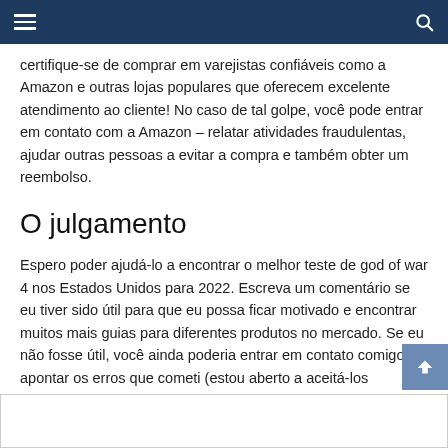☰  🔍
certifique-se de comprar em varejistas confiáveis como a Amazon e outras lojas populares que oferecem excelente atendimento ao cliente! No caso de tal golpe, você pode entrar em contato com a Amazon – relatar atividades fraudulentas, ajudar outras pessoas a evitar a compra e também obter um reembolso.
O julgamento
Espero poder ajudá-lo a encontrar o melhor teste de god of war 4 nos Estados Unidos para 2022. Escreva um comentário se eu tiver sido útil para que eu possa ficar motivado e encontrar muitos mais guias para diferentes produtos no mercado. Se eu não fosse útil, você ainda poderia entrar em contato comigo e apontar os erros que cometi (estou aberto a aceitá-los publicamente).